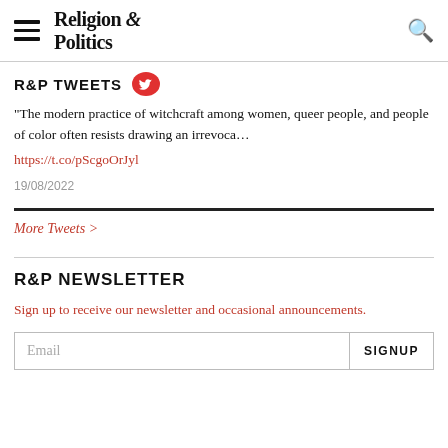Religion & Politics
R&P TWEETS
"The modern practice of witchcraft among women, queer people, and people of color often resists drawing an irrevoca… https://t.co/pScgoOrJyl
19/08/2022
More Tweets >
R&P NEWSLETTER
Sign up to receive our newsletter and occasional announcements.